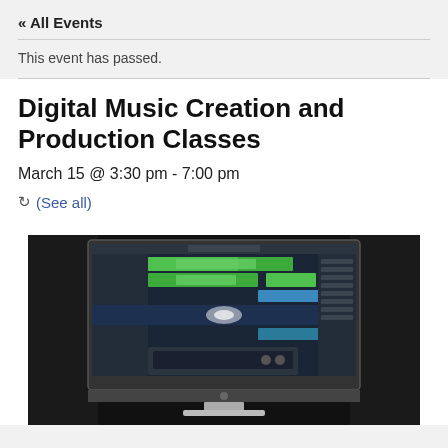« All Events
This event has passed.
Digital Music Creation and Production Classes
March 15 @ 3:30 pm - 7:00 pm
(See all)
[Figure (photo): A photo of an iMac computer displaying a digital audio workstation (DAW) software with green and blue audio tracks on a dark background, placed on a desk with a dark curtain behind it.]